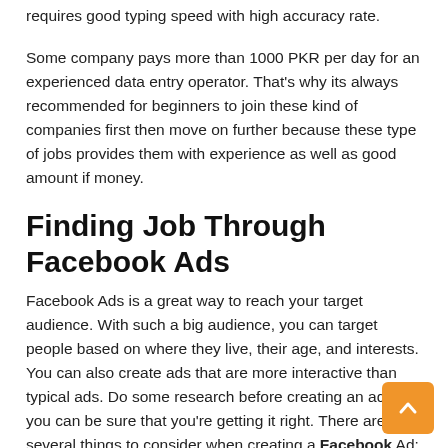requires good typing speed with high accuracy rate.
Some company pays more than 1000 PKR per day for an experienced data entry operator. That’s why its always recommended for beginners to join these kind of companies first then move on further because these type of jobs provides them with experience as well as good amount if money.
Finding Job Through Facebook Ads
Facebook Ads is a great way to reach your target audience. With such a big audience, you can target people based on where they live, their age, and interests. You can also create ads that are more interactive than typical ads. Do some research before creating an ad so you can be sure that you’re getting it right. There are several things to consider when creating a Facebook Ad:
As you make decisions about what kinds of ads to run, keep these questions in mind:
When you’ve answered these questions, it will be easier for you to